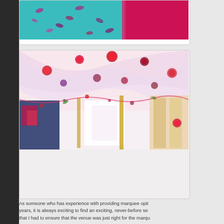[Figure (photo): Top partial image showing teal/turquoise fabric with magenta/pink pattern on left and solid magenta/red fabric on right]
[Figure (photo): Interior of a decorated party marquee tent with pink draped ceiling, colorful hanging pom-pom decorations in red, pink and purple, and festive party decor below]
As someone who has experience with providing marquee options years, it is always exciting to find an exciting, never-before se that I had to ensure that the venue was just right for the marqu